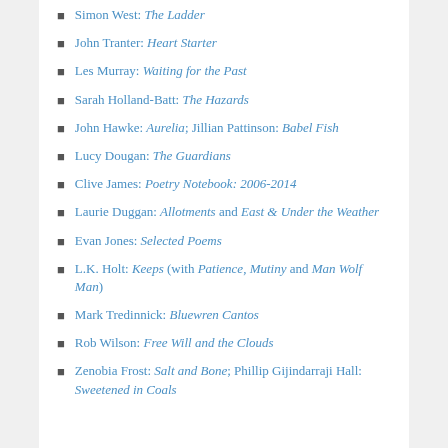Simon West: The Ladder
John Tranter: Heart Starter
Les Murray: Waiting for the Past
Sarah Holland-Batt: The Hazards
John Hawke: Aurelia; Jillian Pattinson: Babel Fish
Lucy Dougan: The Guardians
Clive James: Poetry Notebook: 2006-2014
Laurie Duggan: Allotments and East & Under the Weather
Evan Jones: Selected Poems
L.K. Holt: Keeps (with Patience, Mutiny and Man Wolf Man)
Mark Tredinnick: Bluewren Cantos
Rob Wilson: Free Will and the Clouds
Zenobia Frost: Salt and Bone; Phillip Gijindarraji Hall: Sweetened in Coals